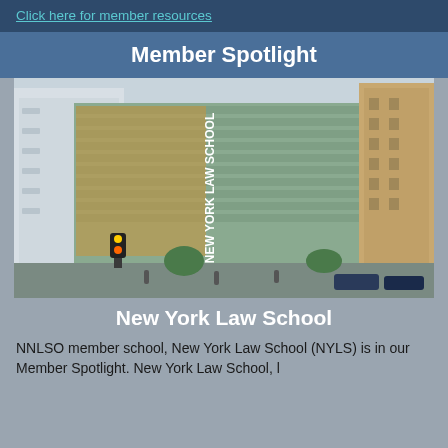Click here for member resources
Member Spotlight
[Figure (photo): Exterior photograph of New York Law School building, a modern glass and steel structure in an urban setting with surrounding city buildings and street traffic]
New York Law School
NNLSO member school, New York Law School (NYLS) is in our Member Spotlight. New York Law School, l...